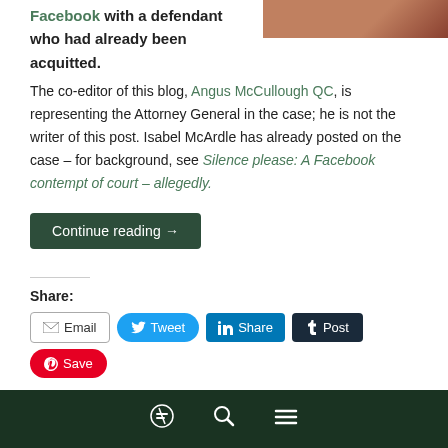[Figure (photo): Partial photo of a person visible in top-right corner, cropped]
Facebook with a defendant who had already been acquitted.
The co-editor of this blog, Angus McCullough QC, is representing the Attorney General in the case; he is not the writer of this post. Isabel McArdle has already posted on the case – for background, see Silence please: A Facebook contempt of court – allegedly.
Continue reading →
Share:
Email  Tweet  Share  Post  Save
Like this: